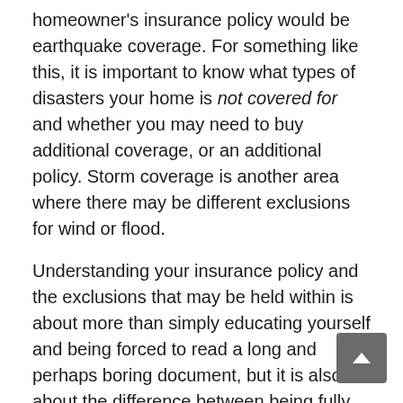homeowner's insurance policy would be earthquake coverage. For something like this, it is important to know what types of disasters your home is not covered for and whether you may need to buy additional coverage, or an additional policy. Storm coverage is another area where there may be different exclusions for wind or flood.
Understanding your insurance policy and the exclusions that may be held within is about more than simply educating yourself and being forced to read a long and perhaps boring document, but it is also about the difference between being fully covered or having to pay an enormous out-of-pocket expense.
If you suspect your insurance company may be denying your claim in bad faith, contact the attorneys at the Bolender Law Firm. If a dispute over a claim cannot be easily resolved through a call or written communication, our attorneys will advocate on behalf of policyholders through litigation, arbitration, or non-binding mediation. Our